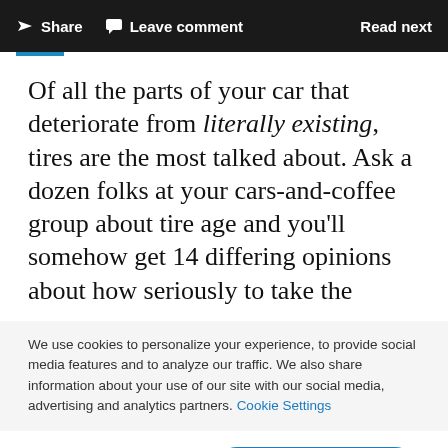Share  Leave comment  Read next
Of all the parts of your car that deteriorate from literally existing, tires are the most talked about. Ask a dozen folks at your cars-and-coffee group about tire age and you'll somehow get 14 differing opinions about how seriously to take the
We use cookies to personalize your experience, to provide social media features and to analyze our traffic. We also share information about your use of our site with our social media, advertising and analytics partners. Cookie Settings
Accept all cookies